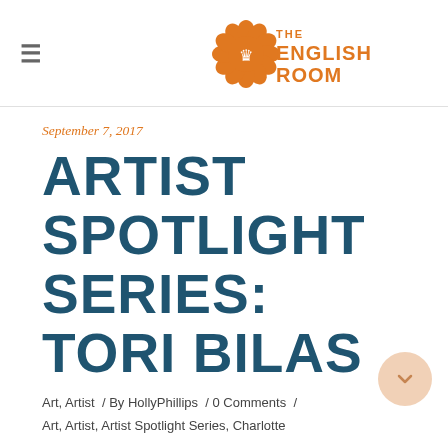The English Room
September 7, 2017
ARTIST SPOTLIGHT SERIES: TORI BILAS
Art, Artist  /  By HollyPhillips  /  0 Comments  /  Art, Artist, Artist Spotlight Series, Charlotte